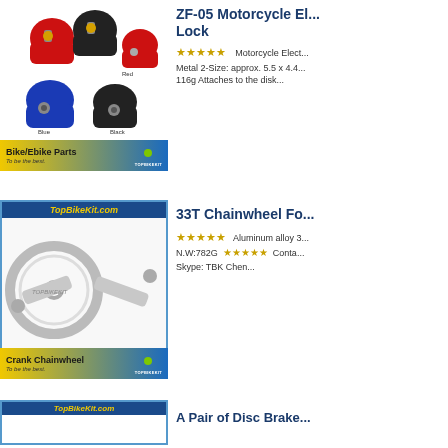[Figure (photo): Product listing image of motorcycle/bike disc brake locks in black, red, and blue colors with 'Bike/Ebike Parts - To be the best. TOPBIKEKIT' banner]
ZF-05 Motorcycle Electric Bike Disc Brake Lock
★★★★★   Motorcycle Electr... Metal 2-Size: approx. 5.5 x 4.4... 116g Attaches to the disk...
[Figure (photo): Product listing image of a silver crank chainwheel set with 'Crank Chainwheel - To be the best. TOPBIKEKIT' banner]
33T Chainwheel For...
★★★★★   Aluminum alloy 3... N.W:782G   ★★★★★  Conta... Skype: TBK Chen...
[Figure (photo): Partial product listing image with TopBikeKit.com header, partially visible at bottom of page]
A Pair of Disc Brake...